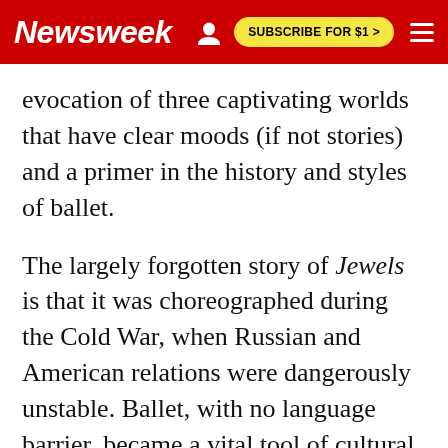Newsweek | SUBSCRIBE FOR $1 >
evocation of three captivating worlds that have clear moods (if not stories) and a primer in the history and styles of ballet.
The largely forgotten story of Jewels is that it was choreographed during the Cold War, when Russian and American relations were dangerously unstable. Ballet, with no language barrier, became a vital tool of cultural diplomacy: The Bolshoi arrived in the U.S. to great fanfare in 1959, and NYCB made its first trip to the Soviet Union in 1962 on a State